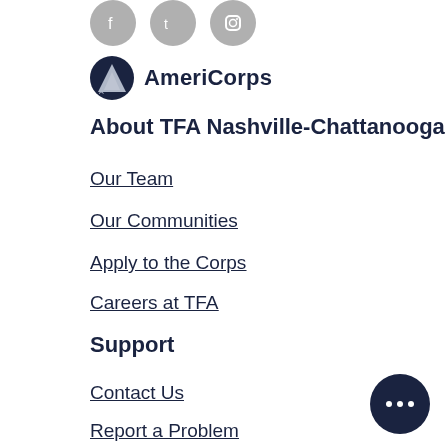[Figure (logo): Three circular social media icons (Facebook, Twitter, Instagram) in gray]
[Figure (logo): AmeriCorps logo with shield icon and bold AmeriCorps text]
About TFA Nashville-Chattanooga
Our Team
Our Communities
Apply to the Corps
Careers at TFA
Support
Contact Us
Report a Problem
[Figure (other): Dark navy circular button with three white dots (more options button)]